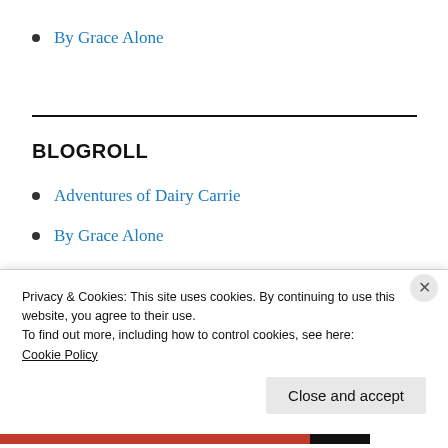By Grace Alone
BLOGROLL
Adventures of Dairy Carrie
By Grace Alone
Byway Blessings
Christian Classics
Privacy & Cookies: This site uses cookies. By continuing to use this website, you agree to their use.
To find out more, including how to control cookies, see here:
Cookie Policy
Close and accept